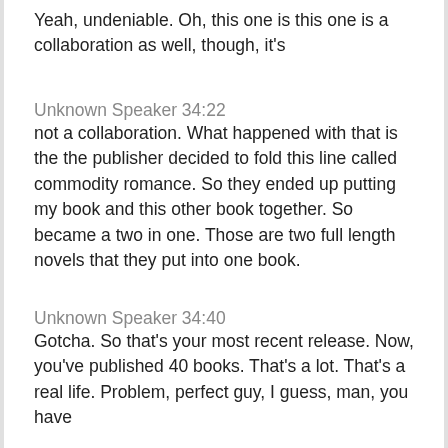Yeah, undeniable. Oh, this one is this one is a collaboration as well, though, it's
Unknown Speaker 34:22
not a collaboration. What happened with that is the the publisher decided to fold this line called commodity romance. So they ended up putting my book and this other book together. So became a two in one. Those are two full length novels that they put into one book.
Unknown Speaker 34:40
Gotcha. So that's your most recent release. Now, you've published 40 books. That's a lot. That's a real life. Problem, perfect guy, I guess, man, you have